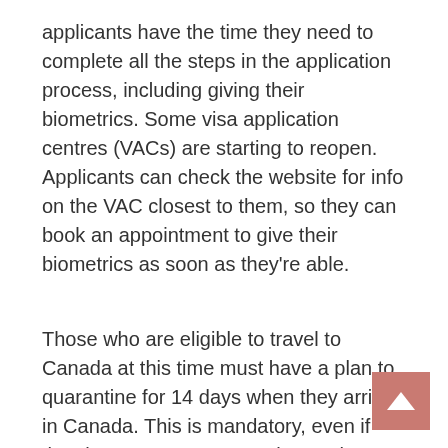applicants have the time they need to complete all the steps in the application process, including giving their biometrics. Some visa application centres (VACs) are starting to reopen. Applicants can check the website for info on the VAC closest to them, so they can book an appointment to give their biometrics as soon as they're able.
Those who are eligible to travel to Canada at this time must have a plan to quarantine for 14 days when they arrive in Canada. This is mandatory, even if they have no symptoms. Those who don't have a plan should not travel to Canada.